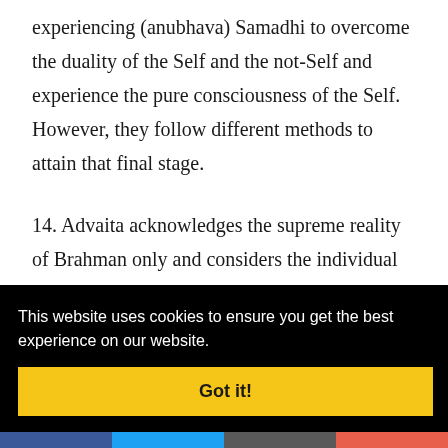experiencing (anubhava) Samadhi to overcome the duality of the Self and the not-Self and experience the pure consciousness of the Self. However, they follow different methods to attain that final stage.
14. Advaita acknowledges the supreme reality of Brahman only and considers the individual Self
This website uses cookies to ensure you get the best experience on our website.
Got it!